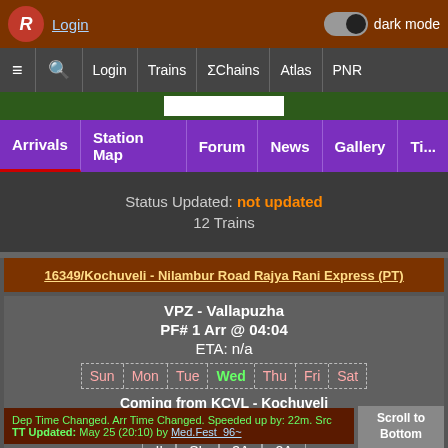Login | dark mode toggle
≡ 🔍 Login Trains ΣChains Atlas PNR
Arrivals | Station Map | Forum | News | Gallery | Ti...
Status Updated: not updated
12 Trains
16349/Kochuveli - Nilambur Road Rajya Rani Express (PT)
VPZ - Vallapuzha
PF# 1 Arr @ 04:04
ETA: n/a
Sun Mon Tue Wed Thu Fri Sat
Coming from KCVL - Kochuveli
PF# -- Dep @ 20:50
II  SL  3A  2A
Dep Time Changed. Arr Time Changed. Speeded up by: 22m. Src TT Updated: May 25 (20:10) by Med.Fest_96~